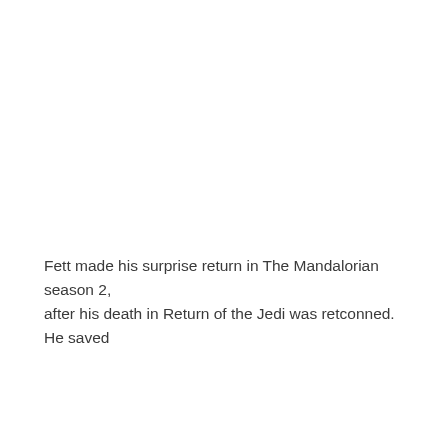Fett made his surprise return in The Mandalorian season 2, after his death in Return of the Jedi was retconned. He saved